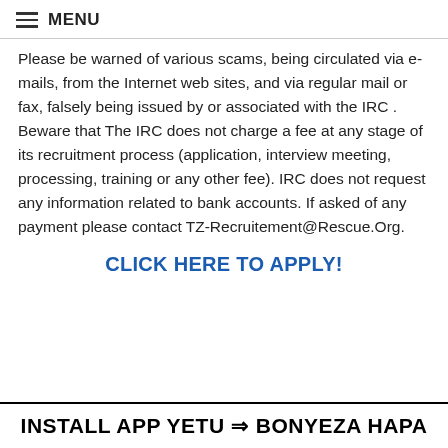MENU
Please be warned of various scams, being circulated via e-mails, from the Internet web sites, and via regular mail or fax, falsely being issued by or associated with the IRC . Beware that The IRC does not charge a fee at any stage of its recruitment process (application, interview meeting, processing, training or any other fee). IRC does not request any information related to bank accounts. If asked of any payment please contact TZ-Recruitement@Rescue.Org.
CLICK HERE TO APPLY!
INSTALL APP YETU ⇒ BONYEZA HAPA